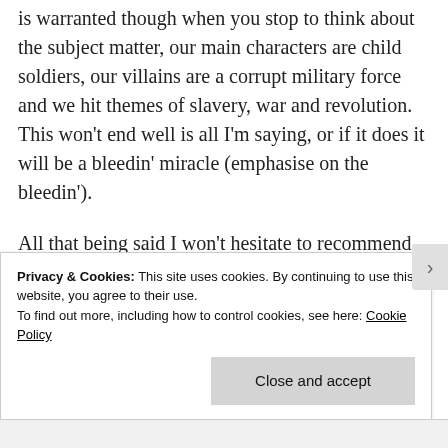is warranted though when you stop to think about the subject matter, our main characters are child soldiers, our villains are a corrupt military force and we hit themes of slavery, war and revolution. This won't end well is all I'm saying, or if it does it will be a bleedin' miracle (emphasise on the bleedin').
All that being said I won't hesitate to recommend this series. It's not perfect I do have to admit that, but it comes damned close.
Privacy & Cookies: This site uses cookies. By continuing to use this website, you agree to their use.
To find out more, including how to control cookies, see here: Cookie Policy